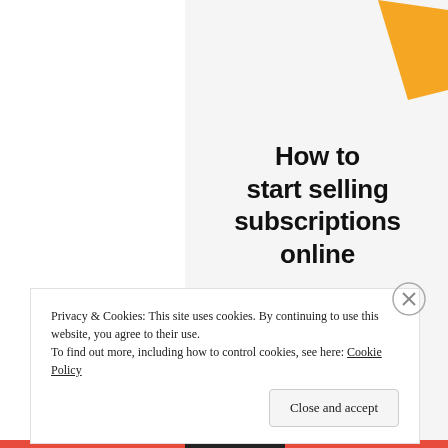[Figure (illustration): Orange irregular polygon shape in top-right corner of gray panel]
How to start selling subscriptions online
Start a new store
[Figure (illustration): Green irregular polygon shape at bottom-left of gray panel]
Privacy & Cookies: This site uses cookies. By continuing to use this website, you agree to their use.
To find out more, including how to control cookies, see here: Cookie Policy
Close and accept